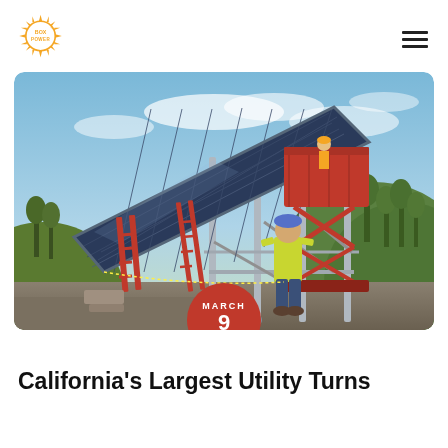BOXPOWER
[Figure (photo): Worker in yellow hi-vis vest and blue hard hat stands in front of a large solar panel array being installed outdoors on a hillside. A red scissor lift is visible with another worker on it. Red ladders lean against the structure. Green hills visible in background under partly cloudy blue sky. Date badge overlaid: MARCH 9 2021.]
California's Largest Utility Turns